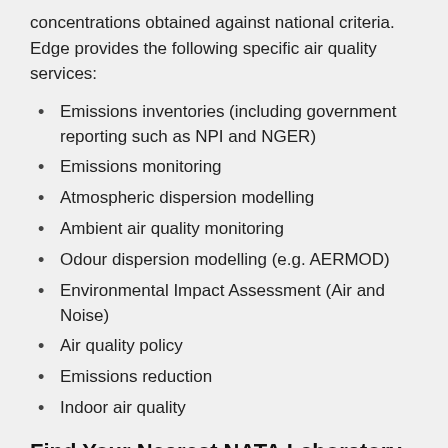concentrations obtained against national criteria. Edge provides the following specific air quality services:
Emissions inventories (including government reporting such as NPI and NGER)
Emissions monitoring
Atmospheric dispersion modelling
Ambient air quality monitoring
Odour dispersion modelling (e.g. AERMOD)
Environmental Impact Assessment (Air and Noise)
Air quality policy
Emissions reduction
Indoor air quality
Find Your Nearest NATA Laboratory
Edge Group are a registered NATA laboratory and are listed on their website. Get in touch with us and we'll help you with all your testing requirements. Additionally, if you have any questions about legislation relating to your or your workers health, we're happy to help. Our experienced occupational hygienists and licensed